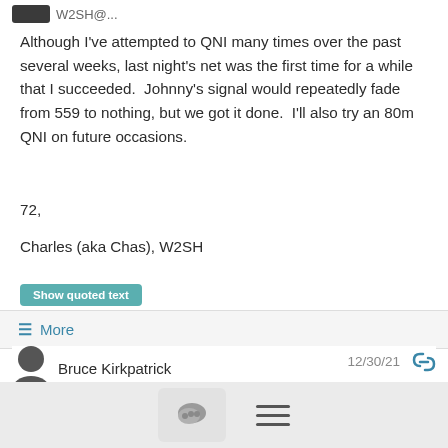W2SH@...
Although I've attempted to QNI many times over the past several weeks, last night's net was the first time for a while that I succeeded.  Johnny's signal would repeatedly fade from 559 to nothing, but we got it done.  I'll also try an 80m QNI on future occasions.
72,
Charles (aka Chas), W2SH
Show quoted text
≡ More
Bruce Kirkpatrick
12/30/21